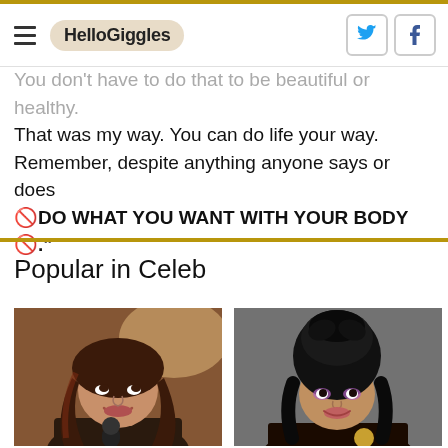HelloGiggles
You don't have to do that to be beautiful or healthy. That was my way. You can do life your way. Remember, despite anything anyone says or does 🚫DO WHAT YOU WANT WITH YOUR BODY🚫."
Popular in Celeb
[Figure (photo): Woman with long wavy hair holding a microphone, smiling upward, warm brown background]
[Figure (photo): Woman with large black sculptural updo hairstyle, wearing dramatic eye makeup, grey background]